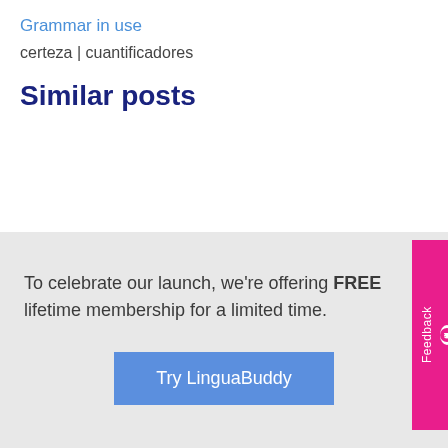Grammar in use
certeza | cuantificadores
Similar posts
To celebrate our launch, we're offering FREE lifetime membership for a limited time.
Try LinguaBuddy